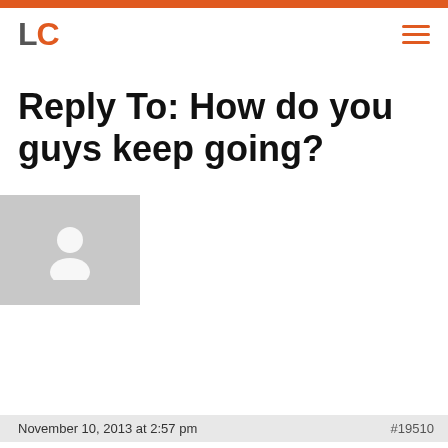LC
Reply To: How do you guys keep going?
November 10, 2013 at 2:57 pm  #19510
miljacic
Member
As much as I would like to see Libertarian ideas and viewpoints spread across the globe (at least to be understood, if not agreed upon), even more would I like to see the widespread of quality communication tools, like the classic book: "How to Win Friends and Influence People" by